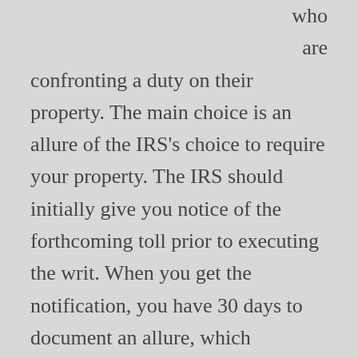who are confronting a duty on their property. The main choice is an allure of the IRS's choice to require your property. The IRS should initially give you notice of the forthcoming toll prior to executing the writ. When you get the notification, you have 30 days to document an allure, which suspends assortment activity until you have a consultation. Regardless of whether you missed the cutoff time, you might in any case document a review survey or an honest life partner insurance application. When you record the important applications, the IRS will briefly stop your encumbrance until it has surveyed your allure. The cycle might require a while.